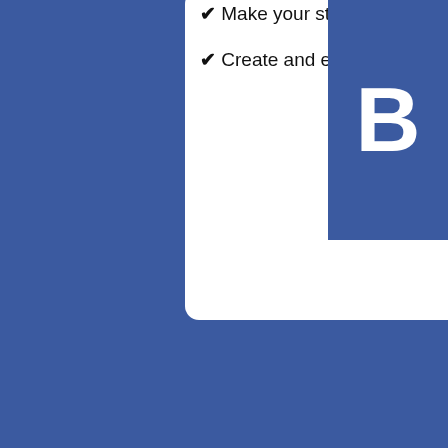✔ Make your student life easy and fun
✔ Create and edit multiple bibliographies
✔ Join
🔍 Cite in Plant Biology
Ads keep us free. Upgrade to remove.
Use the following template to cite a report